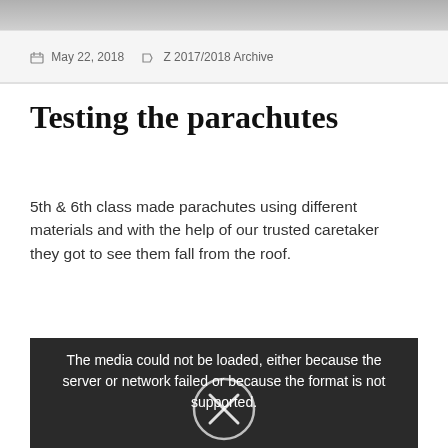[Figure (photo): Top of page partial photo, grey/muted tones, cropped]
May 22, 2018    Z 2017/2018 Archive
Testing the parachutes
5th & 6th class made parachutes using different materials and with the help of our trusted caretaker they got to see them fall from the roof.
[Figure (screenshot): Video player showing error: The media could not be loaded, either because the server or network failed or because the format is not supported. An X in a circle is shown.]